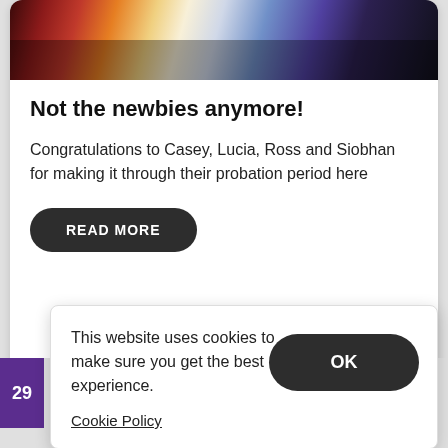[Figure (photo): Night cityscape reflection photo with colorful lights reflected on water surface]
Not the newbies anymore!
Congratulations to Casey, Lucia, Ross and Siobhan for making it through their probation period here
READ MORE
This website uses cookies to make sure you get the best experience.
OK
Cookie Policy
taking the time to recognise our efforts!